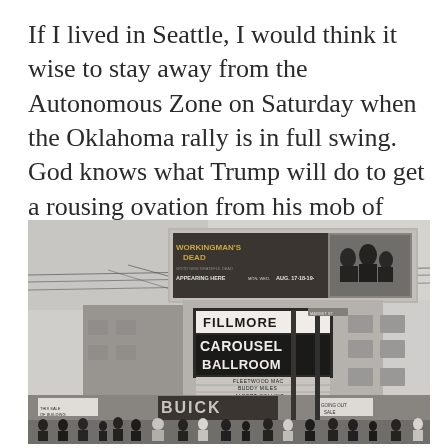If I lived in Seattle, I would think it wise to stay away from the Autonomous Zone on Saturday when the Oklahoma rally is in full swing.  God knows what Trump will do to get a rousing ovation from his mob of vengeful minions.
[Figure (photo): Black and white photograph of the Fillmore Carousel Ballroom building exterior with a large billboard advertising 'Workingman's Dead - Good New Grateful Dead - Appearing Here Mon. Wed. Aug. 17 18 19'. The venue marquee reads 'Fillmore Carousel Ballroom' with 'Fleetwood Mac, Buddy Miles, Albert Collins' listed. A crowd of people stands on the sidewalk below. A Buick dealership sign is visible. Multiple electrical wires cross the scene.]